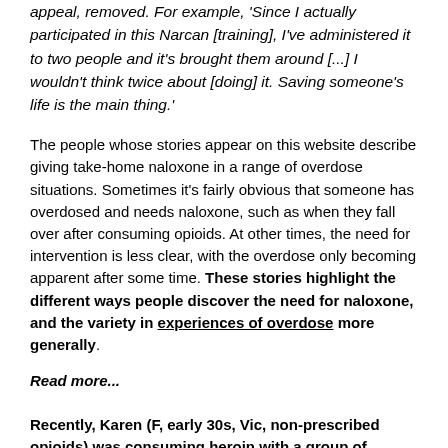appeal, removed. For example, 'Since I actually participated in this Narcan [training], I've administered it to two people and it's brought them around [...] I wouldn't think twice about [doing] it. Saving someone's life is the main thing.'
The people whose stories appear on this website describe giving take-home naloxone in a range of overdose situations. Sometimes it's fairly obvious that someone has overdosed and needs naloxone, such as when they fall over after consuming opioids. At other times, the need for intervention is less clear, with the overdose only becoming apparent after some time. These stories highlight the different ways people discover the need for naloxone, and the variety in experiences of overdose more generally.
Read more...
Recently, Karen (F, early 30s, Vic, non-prescribed opioids) was consuming heroin with a group of friends. Her friend Patricia had also consumed other drugs ('pills'), and while Karen was concerned about